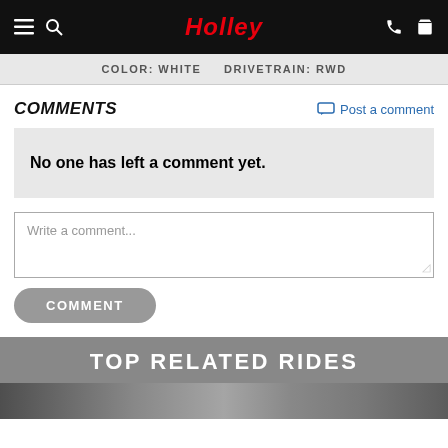Holley — navigation bar
COLOR: WHITE   DRIVETRAIN: RWD
COMMENTS
Post a comment
No one has left a comment yet.
Write a comment...
COMMENT
TOP RELATED RIDES